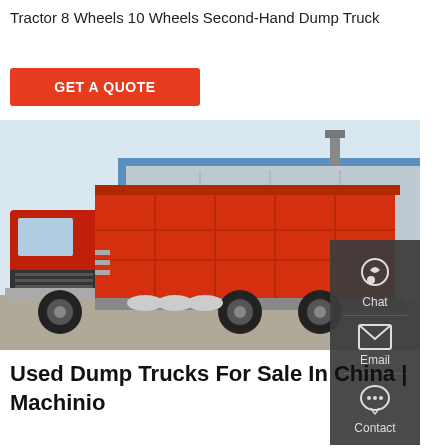Tractor 8 Wheels 10 Wheels Second-Hand Dump Truck
GET A QUOTE
[Figure (photo): Red heavy-duty dump truck (tipper truck) parked in a yard in front of a blue and grey industrial building. The truck has a large red cargo bed with rectangular panel patterns and dual rear axles with large tires.]
Chat
Email
Contact
Used Dump Trucks For Sale In China | Machinio